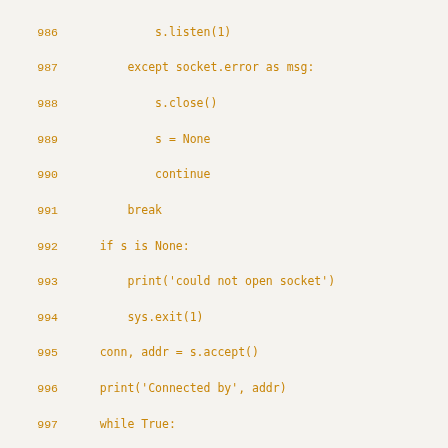Code listing lines 986-1015 showing Python socket server and client code
986: s.listen(1)
987:     except socket.error as msg:
988:         s.close()
989:         s = None
990:         continue
991:     break
992:     if s is None:
993:         print('could not open socket')
994:         sys.exit(1)
995:     conn, addr = s.accept()
996:     print('Connected by', addr)
997:     while True:
998:         data = conn.recv(1024)
999:         if not data: break
1000:         conn.send(data)
1001:     conn.close()
1002:
1003: ::
1004:
1005:     # Echo client program
1006:     import socket
1007:     import sys
1008:
1009:     HOST = 'daring.cwi.nl'    # The remote host
1010:     PORT = 50007              # The same port as us
1011:     s = None
1012:     for res in socket.getaddrinfo(HOST, PORT, socke
1013:         af, socktype, proto, canonname, sa = res
1014:         try:
1015:             s = socket.socket(af, socktype, proto)